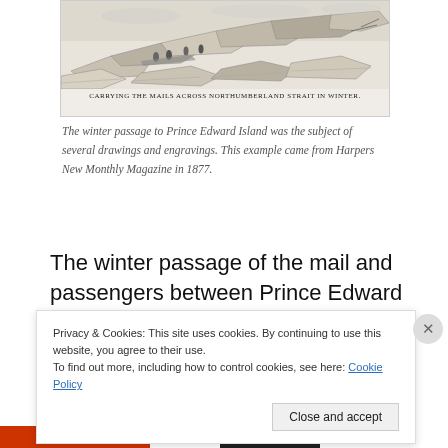[Figure (illustration): Historical engraving showing people carrying mails across Northumberland Strait in winter, with icefields and figures visible. Caption reads: CARRYING THE MAILS ACROSS NORTHUMBERLAND STRAIT IN WINTER.]
The winter passage to Prince Edward Island was the subject of several drawings and engravings. This example came from Harpers New Monthly Magazine in 1877.
The winter passage of the mail and passengers between Prince Edward Island and the Mainland is
Privacy & Cookies: This site uses cookies. By continuing to use this website, you agree to their use.
To find out more, including how to control cookies, see here: Cookie Policy

Close and accept